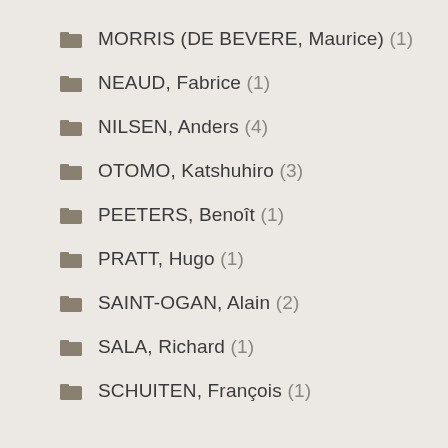MORRIS (DE BEVERE, Maurice) (1)
NEAUD, Fabrice (1)
NILSEN, Anders (4)
OTOMO, Katshuhiro (3)
PEETERS, Benoît (1)
PRATT, Hugo (1)
SAINT-OGAN, Alain (2)
SALA, Richard (1)
SCHUITEN, François (1)